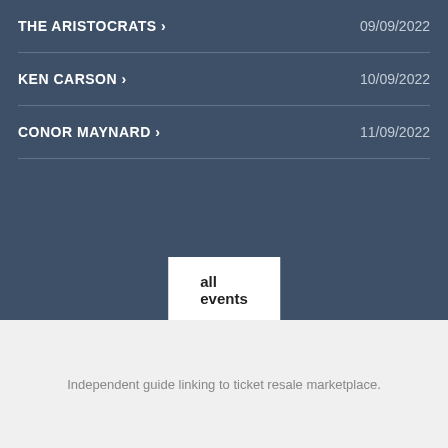THE ARISTOCRATS › 09/09/2022
KEN CARSON › 10/09/2022
CONOR MAYNARD › 11/09/2022
all events
Independent guide linking to ticket resale marketplace.